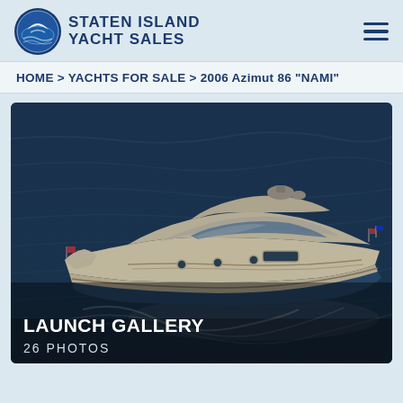STATEN ISLAND YACHT SALES
HOME > YACHTS FOR SALE > 2006 Azimut 86 "NAMI"
[Figure (photo): Aerial view of a large white luxury motor yacht (2006 Azimut 86 'NAMI') cruising on dark blue water, seen from above and slightly behind. The yacht has a sleek modern design with teak decks, flybridge, and radar equipment. White wake visible behind the vessel.]
LAUNCH GALLERY
26 PHOTOS